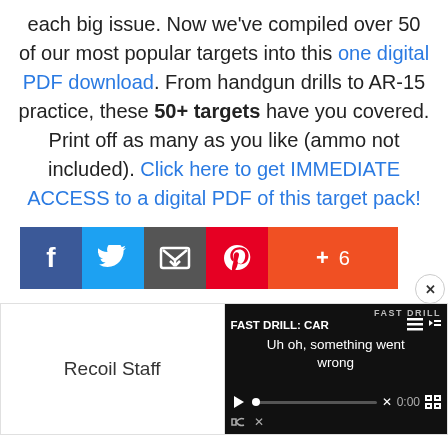each big issue. Now we've compiled over 50 of our most popular targets into this one digital PDF download. From handgun drills to AR-15 practice, these 50+ targets have you covered. Print off as many as you like (ammo not included). Click here to get IMMEDIATE ACCESS to a digital PDF of this target pack!
[Figure (other): Social sharing buttons: Facebook (blue), Twitter (blue), Email (gray), Pinterest (red), +6 (orange)]
Recoil Staff
[Figure (screenshot): Video player overlay showing 'FAST DRILL: CAR...' with error message 'Uh oh, something went wrong', playback controls, 0:00 timestamp, and a close X button]